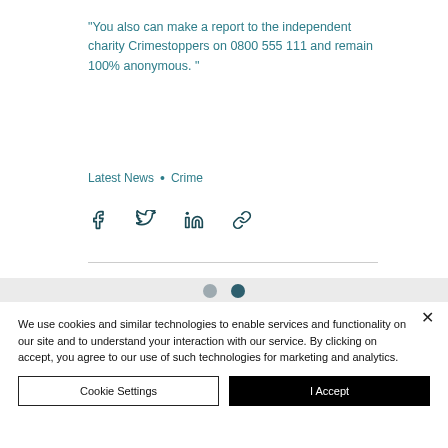“You also can make a report to the independent charity Crimestoppers on 0800 555 111 and remain 100% anonymous. ”
Latest News • Crime
[Figure (other): Social share icons: Facebook, Twitter, LinkedIn, and link/chain icon]
[Figure (other): Pagination dots: two circles, first inactive (grey), second active (dark teal)]
We use cookies and similar technologies to enable services and functionality on our site and to understand your interaction with our service. By clicking on accept, you agree to our use of such technologies for marketing and analytics.
Cookie Settings
I Accept